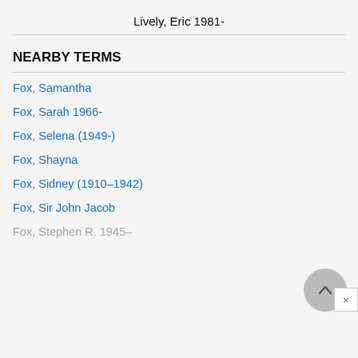Lively, Eric 1981-
NEARBY TERMS
Fox, Samantha
Fox, Sarah 1966-
Fox, Selena (1949-)
Fox, Shayna
Fox, Sidney (1910–1942)
Fox, Sir John Jacob
Fox, Stephen R. 1945–